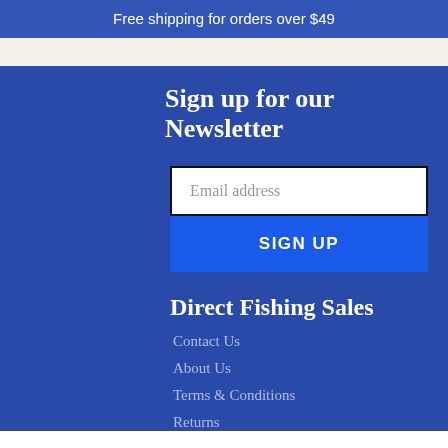Free shipping for orders over $49
Sign up for our Newsletter
Email address
SIGN UP
Direct Fishing Sales
Contact Us
About Us
Terms & Conditions
Returns